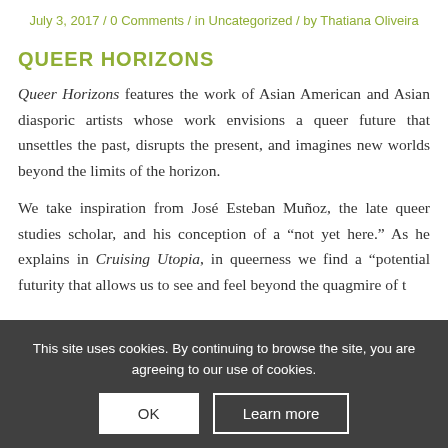July 3, 2017 / 0 Comments / in Uncategorized / by Thatiana Oliveira
QUEER HORIZONS
Queer Horizons features the work of Asian American and Asian diasporic artists whose work envisions a queer future that unsettles the past, disrupts the present, and imagines new worlds beyond the limits of the horizon.
We take inspiration from José Esteban Muñoz, the late queer studies scholar, and his conception of a “not yet here.” As he explains in Cruising Utopia, in queerness we find a “potential futurity that allows us to see and feel beyond the quagmire of…
This site uses cookies. By continuing to browse the site, you are agreeing to our use of cookies.